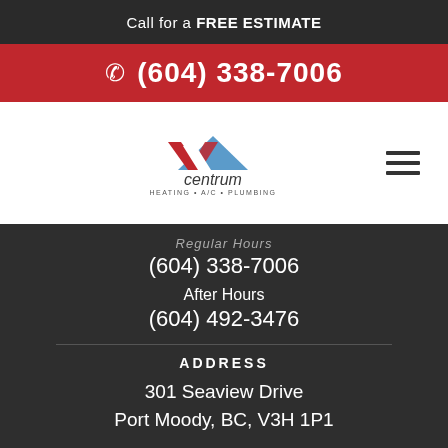Call for a FREE ESTIMATE
(604) 338-7006
[Figure (logo): Centrum Heating A/C Plumbing logo with red and blue roof/chevron graphic above the word 'centrum' and tagline 'HEATING • A/C • PLUMBING']
Regular Hours
(604) 338-7006
After Hours
(604) 492-3476
ADDRESS
301 Seaview Drive
Port Moody, BC, V3H 1P1
SCHEDULE SERVICE